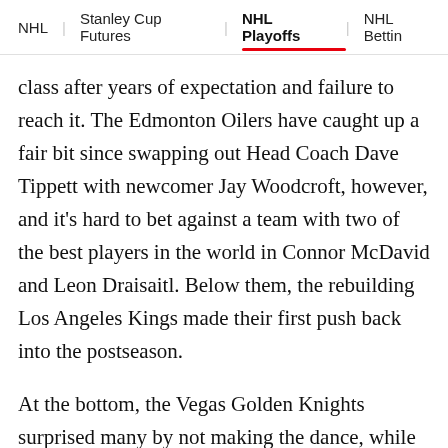NHL | Stanley Cup Futures | NHL Playoffs | NHL Bettin
class after years of expectation and failure to reach it. The Edmonton Oilers have caught up a fair bit since swapping out Head Coach Dave Tippett with newcomer Jay Woodcroft, however, and it's hard to bet against a team with two of the best players in the world in Connor McDavid and Leon Draisaitl. Below them, the rebuilding Los Angeles Kings made their first push back into the postseason.
At the bottom, the Vegas Golden Knights surprised many by not making the dance, while the Canucks surprised by how close they got to turning around an awful start – however, it was to no avail. The other two California teams in Anaheim and San Jose continue their turmoil windows, and the expansion Seattle Kraken prove to not have the same magic touch that Vegas did in year one.